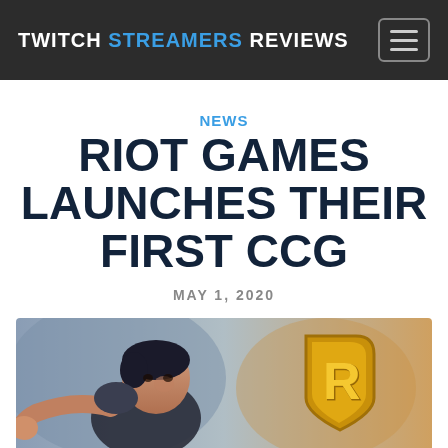TWITCH STREAMERS REVIEWS
News
RIOT GAMES LAUNCHES THEIR FIRST CCG
MAY 1, 2020
[Figure (photo): Illustration of a dark-haired male character pointing forward, with the Riot Games gold shield logo (letter R) visible to the right, on a stylized painted background.]